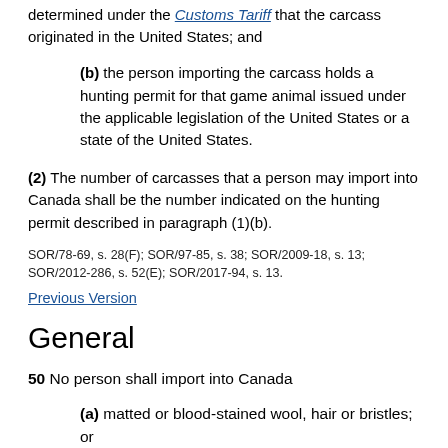determined under the Customs Tariff that the carcass originated in the United States; and
(b) the person importing the carcass holds a hunting permit for that game animal issued under the applicable legislation of the United States or a state of the United States.
(2) The number of carcasses that a person may import into Canada shall be the number indicated on the hunting permit described in paragraph (1)(b).
SOR/78-69, s. 28(F);   SOR/97-85, s. 38;   SOR/2009-18, s. 13; SOR/2012-286, s. 52(E);   SOR/2017-94, s. 13.
Previous Version
General
50 No person shall import into Canada
(a) matted or blood-stained wool, hair or bristles; or
(b) any animal by-product or manure that was